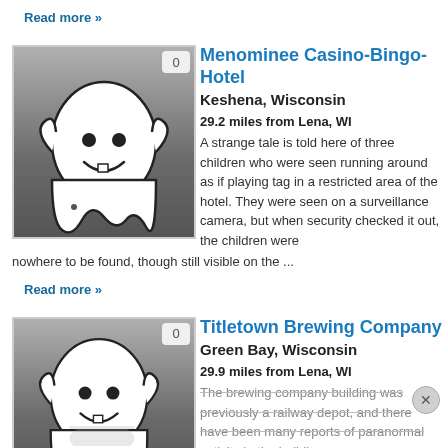Read more »
[Figure (illustration): Ghost cartoon illustration on grey gradient background with badge showing 0]
Menominee Casino-Bingo-Hotel
Keshena, Wisconsin
29.2 miles from Lena, WI
A strange tale is told here of three children who were seen running around as if playing tag in a restricted area of the hotel. They were seen on a surveillance camera, but when security checked it out, the children were nowhere to be found, though still visible on the ...
Read more »
[Figure (illustration): Ghost cartoon illustration on grey gradient background with badge showing 0]
Titletown Brewing Company
Green Bay, Wisconsin
29.9 miles from Lena, WI
The brewing company building was previously a railway depot, and there have been many reports of paranormal activity in the building.